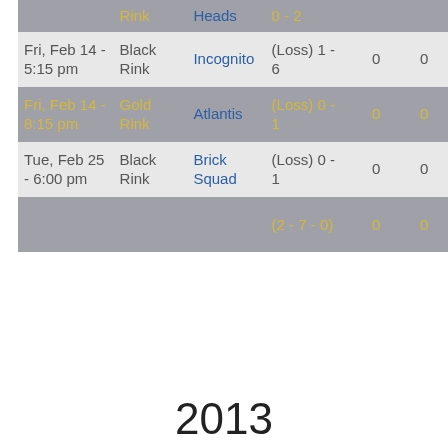| Date | Rink | Opponent | Score |  |  |
| --- | --- | --- | --- | --- | --- |
|  | Rink | Heads | 0 - 2 |  |  |
| Fri, Feb 14 - 5:15 pm | Black Rink | Incognito | (Loss) 1 - 6 | 0 | 0 |
| Fri, Feb 14 - 8:15 pm | Gold Rink | Atlantis | (Loss) 0 - 1 | 0 | 0 |
| Tue, Feb 25 - 6:00 pm | Black Rink | Brick Squad | (Loss) 0 - 1 | 0 | 0 |
|  |  |  | (2 - 7 - 0) | 0 | 0 |
2013